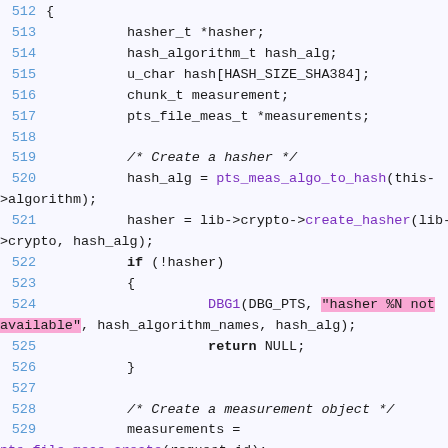Source code listing lines 512-531 showing C code for creating a hasher and measurement object
[Figure (screenshot): C source code snippet with syntax highlighting showing lines 512-531. Includes variable declarations, a comment to create a hasher, function calls pts_meas_algo_to_hash and create_hasher, error handling with DBG1 and return NULL, and a comment to create a measurement object with pts_file_meas_create call.]